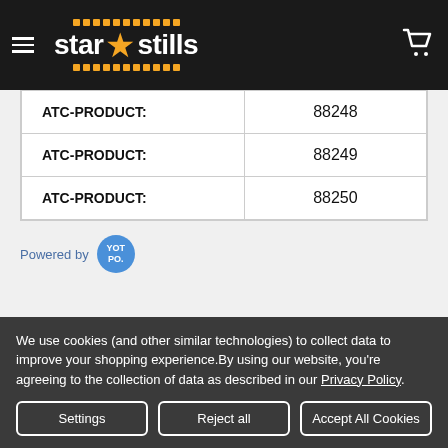[Figure (logo): Star Stills website header with hamburger menu, star stills logo with orange star and dots, and cart icon on black background]
| ATC-PRODUCT: | 88248 |
| ATC-PRODUCT: | 88249 |
| ATC-PRODUCT: | 88250 |
Powered by YOT PO.
We use cookies (and other similar technologies) to collect data to improve your shopping experience.By using our website, you're agreeing to the collection of data as described in our Privacy Policy.
Settings | Reject all | Accept All Cookies